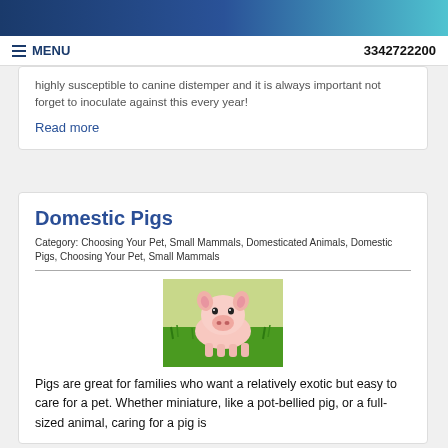MENU   3342722200
highly susceptible to canine distemper and it is always important not forget to inoculate against this every year!
Read more
Domestic Pigs
Category: Choosing Your Pet, Small Mammals, Domesticated Animals, Domestic Pigs, Choosing Your Pet, Small Mammals
[Figure (photo): A small pink piglet sitting in green grass, looking at camera]
Pigs are great for families who want a relatively exotic but easy to care for a pet. Whether miniature, like a pot-bellied pig, or a full-sized animal, caring for a pig is